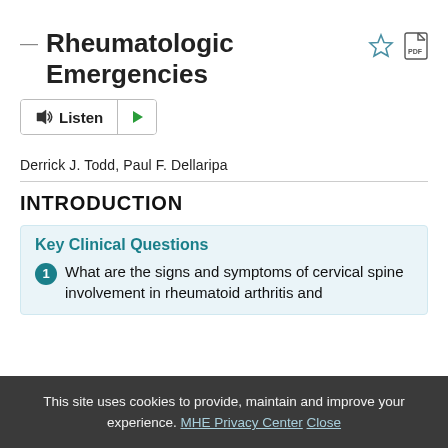Rheumatologic Emergencies
Derrick J. Todd, Paul F. Dellaripa
INTRODUCTION
Key Clinical Questions
1 What are the signs and symptoms of cervical spine involvement in rheumatoid arthritis and
This site uses cookies to provide, maintain and improve your experience. MHE Privacy Center Close